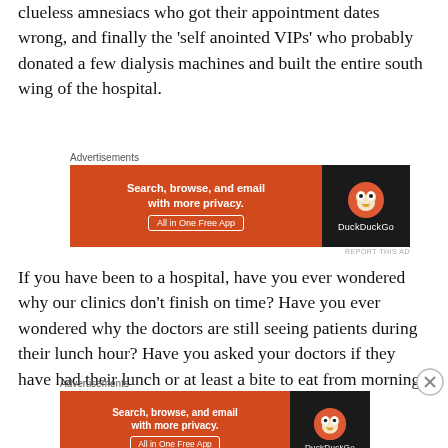clueless amnesiacs who got their appointment dates wrong, and finally the ‘self anointed VIPs’ who probably donated a few dialysis machines and built the entire south wing of the hospital.
[Figure (other): DuckDuckGo advertisement banner: 'Search, browse, and email with more privacy. All in One Free App']
If you have been to a hospital, have you ever wondered why our clinics don’t finish on time? Have you ever wondered why the doctors are still seeing patients during their lunch hour? Have you asked your doctors if they have had their lunch or at least a bite to eat from morning?
[Figure (other): DuckDuckGo advertisement banner: 'Search, browse, and email with more privacy. All in One Free App']